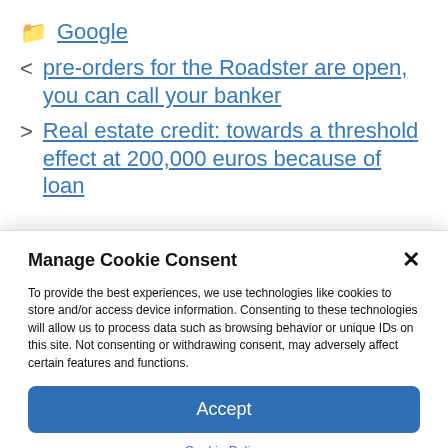📁 Google
< pre-orders for the Roadster are open, you can call your banker
> Real estate credit: towards a threshold effect at 200,000 euros because of loan
Manage Cookie Consent
To provide the best experiences, we use technologies like cookies to store and/or access device information. Consenting to these technologies will allow us to process data such as browsing behavior or unique IDs on this site. Not consenting or withdrawing consent, may adversely affect certain features and functions.
Accept
Cookie Policy